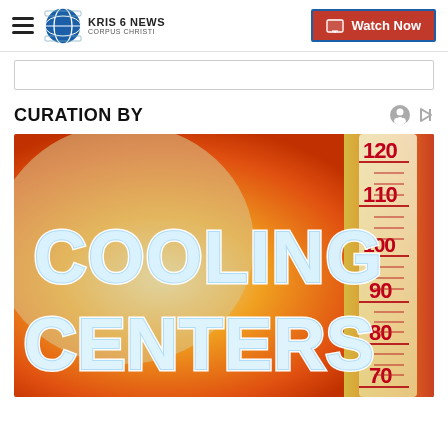KRIS 6 NEWS CORPUS CHRISTI | Watch Now
CURATION BY
[Figure (photo): Cooling Centers promotional image with icy styled text reading COOLING CENTERS over a hot thermometer background showing 120, 110, 100, 90, 80, 70 degree markings, with orange/red gradient background.]